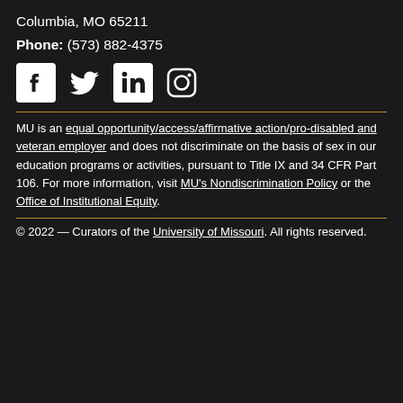Columbia, MO 65211
Phone: (573) 882-4375
[Figure (illustration): Social media icons: Facebook, Twitter, LinkedIn, Instagram]
MU is an equal opportunity/access/affirmative action/pro-disabled and veteran employer and does not discriminate on the basis of sex in our education programs or activities, pursuant to Title IX and 34 CFR Part 106. For more information, visit MU's Nondiscrimination Policy or the Office of Institutional Equity.
© 2022 — Curators of the University of Missouri. All rights reserved.